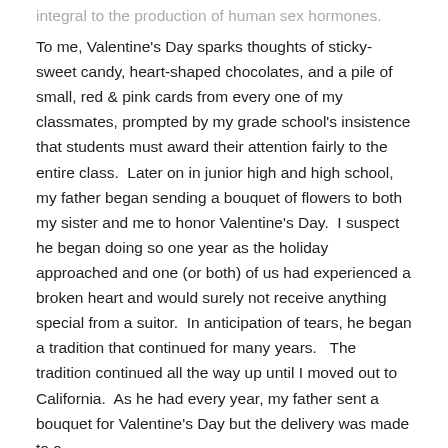integral to the production of human sex hormones.
To me, Valentine's Day sparks thoughts of sticky-sweet candy, heart-shaped chocolates, and a pile of small, red & pink cards from every one of my classmates, prompted by my grade school's insistence that students must award their attention fairly to the entire class.  Later on in junior high and high school, my father began sending a bouquet of flowers to both my sister and me to honor Valentine's Day.  I suspect he began doing so one year as the holiday approached and one (or both) of us had experienced a broken heart and would surely not receive anything special from a suitor.  In anticipation of tears, he began a tradition that continued for many years.   The tradition continued all the way up until I moved out to California.  As he had every year, my father sent a bouquet for Valentine's Day but the delivery was made to a